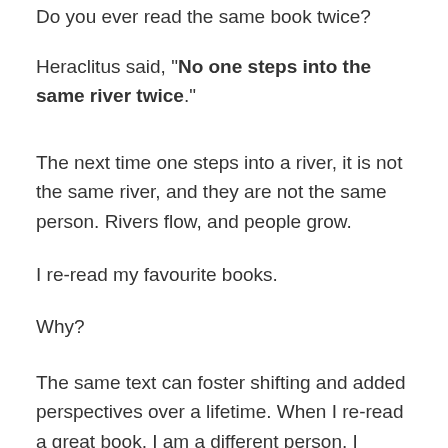Do you ever read the same book twice?
Heraclitus said, "No one steps into the same river twice."
The next time one steps into a river, it is not the same river, and they are not the same person. Rivers flow, and people grow.
I re-read my favourite books.
Why?
The same text can foster shifting and added perspectives over a lifetime. When I re-read a great book, I am a different person. I experience the book differently, and I capture and create new